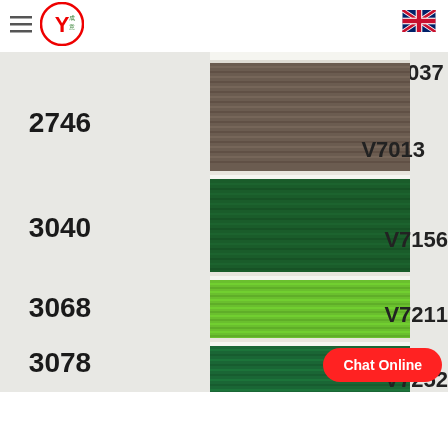[Figure (logo): Company logo: circular design with Y character and Chinese characters, red and green colors]
[Figure (photo): Thread color swatch card showing multiple thread colors: taupe/gray (2746/V7013), dark green (3040/V7156), bright lime green (3068/V7211), forest green (3078/V7252). Color codes shown on left and right sides. Swatches wound on a white card.]
Chat Online